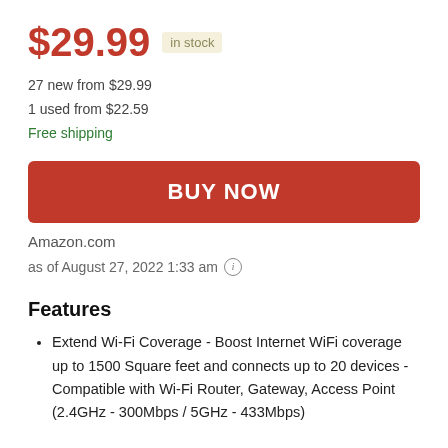$29.99 in stock
27 new from $29.99
1 used from $22.59
Free shipping
[Figure (other): BUY NOW button (red, rounded rectangle)]
Amazon.com
as of August 27, 2022 1:33 am ℹ
Features
Extend Wi-Fi Coverage - Boost Internet WiFi coverage up to 1500 Square feet and connects up to 20 devices - Compatible with Wi-Fi Router, Gateway, Access Point (2.4GHz - 300Mbps / 5GHz - 433Mbps)